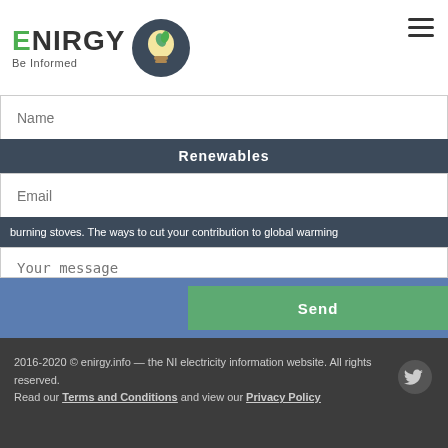[Figure (logo): Enirgy Be Informed logo with lightbulb icon]
Name
Renewables
Email
burning stoves. The ways to cut your contribution to global warming
Your message
Send
2016-2020 © enirgy.info — the NI electricity information website. All rights reserved. Read our Terms and Conditions and view our Privacy Policy